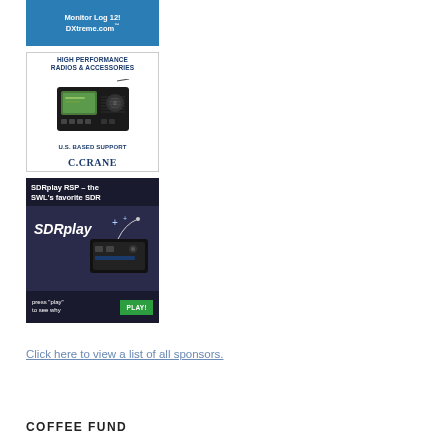[Figure (illustration): DXtreme Monitor Log 12 advertisement banner (partially cut off at top), blue background with white text reading 'Monitor Log 12! DXtreme.com']
[Figure (illustration): C.Crane advertisement showing a portable shortwave radio with text 'HIGH PERFORMANCE RADIOS & ACCESSORIES', radio image, 'U.S. BASED SUPPORT', and 'C.CRANE' logo]
[Figure (illustration): SDRplay RSP advertisement with dark background, text 'SDRplay RSP – the SWL's favorite SDR', SDRplay logo and device image, and green PLAY button with 'press play to see why']
Click here to view a list of all sponsors.
COFFEE FUND